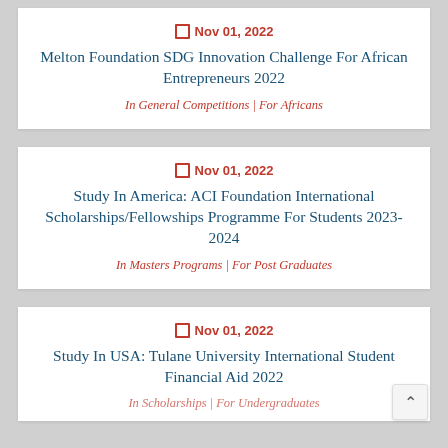Nov 01, 2022
Melton Foundation SDG Innovation Challenge For African Entrepreneurs 2022
In General Competitions | For Africans
Nov 01, 2022
Study In America: ACI Foundation International Scholarships/Fellowships Programme For Students 2023-2024
In Masters Programs | For Post Graduates
Nov 01, 2022
Study In USA: Tulane University International Student Financial Aid 2022
In Scholarships | For Undergraduates